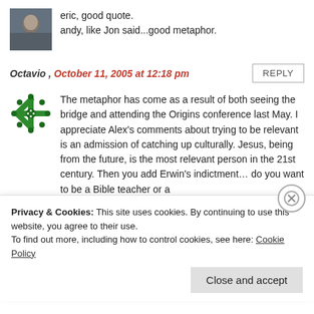[Figure (photo): Small avatar photo of a person in a car, dark tones]
eric, good quote.
andy, like Jon said...good metaphor.
Octavio , October 11, 2005 at 12:18 pm
REPLY
[Figure (illustration): Green snowflake/geometric avatar icon]
The metaphor has come as a result of both seeing the bridge and attending the Origins conference last May. I appreciate Alex's comments about trying to be relevant is an admission of catching up culturally. Jesus, being from the future, is the most relevant person in the 21st century. Then you add Erwin's indictment... do you want to be a Bible teacher or a
Privacy & Cookies: This site uses cookies. By continuing to use this website, you agree to their use.
To find out more, including how to control cookies, see here: Cookie Policy
Close and accept